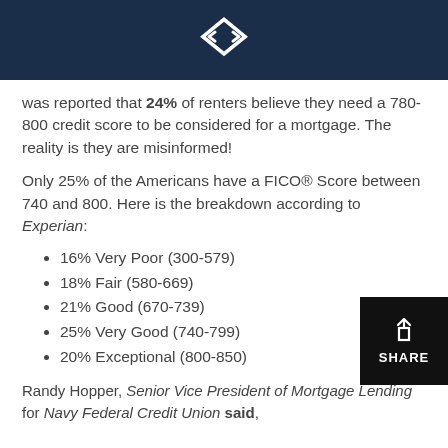was reported that 24% of renters believe they need a 780-800 credit score to be considered for a mortgage. The reality is they are misinformed!
Only 25% of the Americans have a FICO® Score between 740 and 800. Here is the breakdown according to Experian:
16% Very Poor (300-579)
18% Fair (580-669)
21% Good (670-739)
25% Very Good (740-799)
20% Exceptional (800-850)
Randy Hopper, Senior Vice President of Mortgage Lending for Navy Federal Credit Union said,